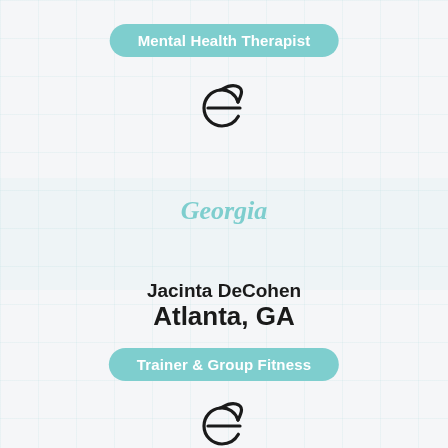Mental Health Therapist
[Figure (logo): Internet Explorer-style 'e' logo icon in dark color]
Georgia
Jacinta DeCohen
Atlanta, GA
Trainer & Group Fitness
[Figure (logo): Internet Explorer-style 'e' logo icon in dark color]